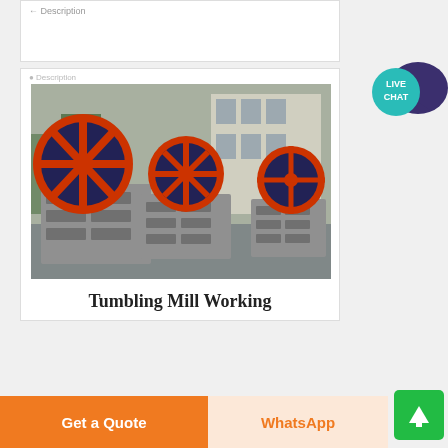← Description
[Figure (photo): Three jaw crusher machines with red flywheels and grey metal frames lined up outdoors in an industrial yard]
Tumbling Mill Working
LIVE CHAT
Get a Quote
WhatsApp